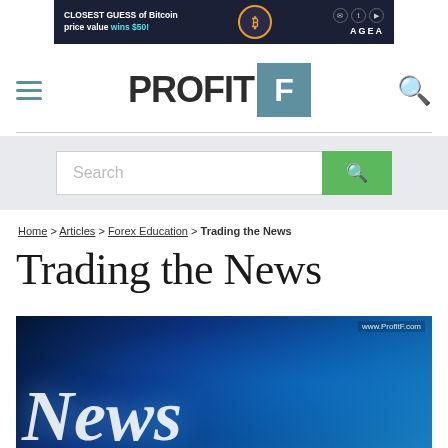[Figure (other): Advertisement banner for AGEA: 'CLOSEST GUESS of Bitcoin price value wins $50!']
[Figure (logo): PROFIT F logo — wordmark 'PROFIT' with teal square containing 'F']
[Figure (other): Search bar with green search button]
Home > Articles > Forex Education > Trading the News
Trading the News
[Figure (photo): Dark blue financial news themed image with 'News' text and glowing digital world map, watermark www.ProfitF.com]